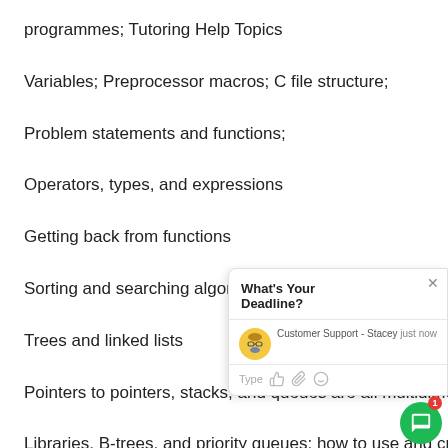programmes; Tutoring Help Topics
Variables; Preprocessor macros; C file structure;
Problem statements and functions;
Operators, types, and expressions
Getting back from functions
Sorting and searching algorithms, Arrays, Pointers, Strings
Trees and linked lists
Pointers to pointers, stacks, and queues are all multidimensional arrays.
Libraries, B-trees, and priority queues: how to use and create them
[Figure (screenshot): Chat widget overlay showing 'What's Your Deadline?' header, Customer Support - Stacey agent with avatar, Type input row with icons, and a green chat bubble button with red notification badge showing 1.]